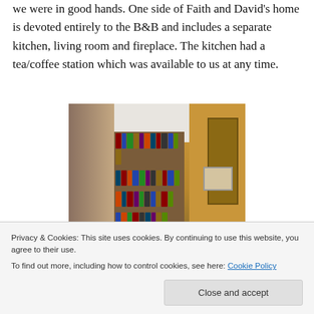we were in good hands. One side of Faith and David's home is devoted entirely to the B&B and includes a separate kitchen, living room and fireplace. The kitchen had a tea/coffee station which was available to us at any time.
[Figure (photo): Interior photo of a B&B living room showing a bookshelf filled with books, warm golden-yellow walls, a window with curtains on the left, a door on the right, and a framed picture on the wall.]
Privacy & Cookies: This site uses cookies. By continuing to use this website, you agree to their use.
To find out more, including how to control cookies, see here: Cookie Policy
[Figure (photo): Partial view of another interior photo of the B&B, cropped at the bottom of the page.]